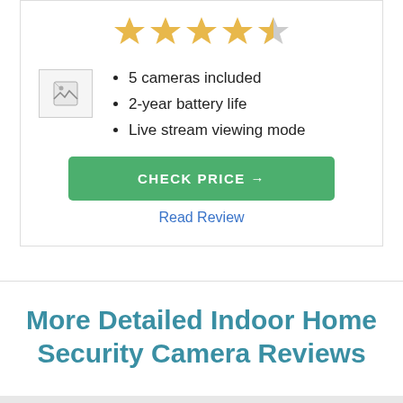[Figure (other): Star rating display showing 4.5 out of 5 stars (4 full gold stars, 1 half gold/grey star)]
[Figure (photo): Small product image placeholder (broken image icon)]
5 cameras included
2-year battery life
Live stream viewing mode
CHECK PRICE →
Read Review
More Detailed Indoor Home Security Camera Reviews